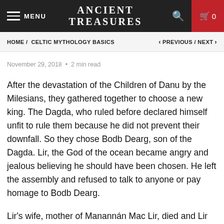MENU | ANCIENT TREASURES | 🔍 | 🛒 0
HOME / CELTIC MYTHOLOGY BASICS   < PREVIOUS / NEXT >
November 29, 2018  •  2 min read
After the devastation of the Children of Danu by the Milesians, they gathered together to choose a new king. The Dagda, who ruled before declared himself unfit to rule them because he did not prevent their downfall. So they chose Bodb Dearg, son of the Dagda. Lir, the God of the ocean became angry and jealous believing he should have been chosen. He left the assembly and refused to talk to anyone or pay homage to Bodb Dearg.
Lir's wife, mother of Manannán Mac Lir, died and Lir became lonely and bitter. After a period of mourning, Bodb Dearg held out the hand of friendship to Lir. If Lir accepted him as king of the Children of Danu he would arrange a marriage with one of the...